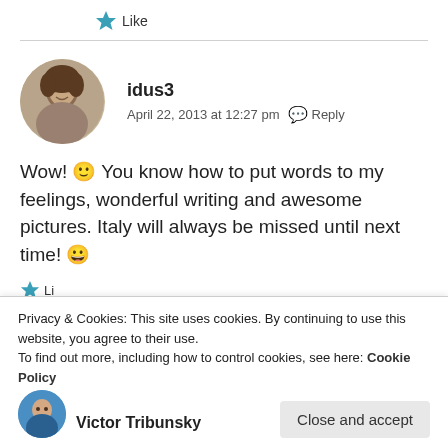[Figure (other): Like button with blue star icon and 'Like' text]
[Figure (photo): Circular avatar photo of a young woman with dark hair, sepia/grayscale tone]
idus3
April 22, 2013 at 12:27 pm  Reply
Wow! 🙂 You know how to put words to my feelings, wonderful writing and awesome pictures. Italy will always be missed until next time! 😀
[Figure (other): Partially visible like button with blue star]
Privacy & Cookies: This site uses cookies. By continuing to use this website, you agree to their use.
To find out more, including how to control cookies, see here: Cookie Policy
Close and accept
[Figure (photo): Circular avatar of Victor Tribunsky, a man in blue shirt]
Victor Tribunsky